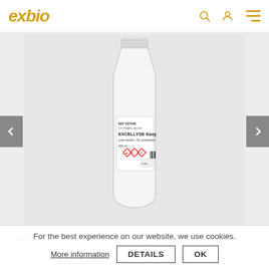exbio
[Figure (photo): White plastic bottle of EXCELLYSE Easy lysis solution, 10x concentrate, 200ml, with hazard symbols on the label. Displayed on a gray background with navigation arrows on left and right.]
ED7066
For the best experience on our website, we use cookies.
More information   DETAILS   OK